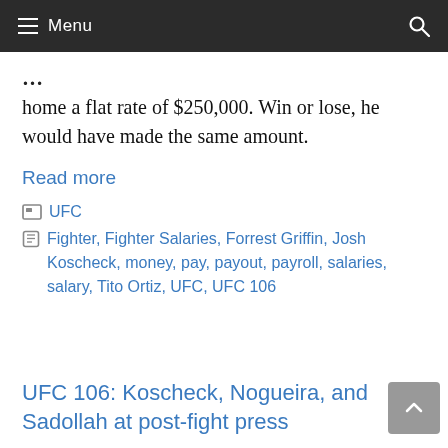Menu
home a flat rate of $250,000. Win or lose, he would have made the same amount.
Read more
UFC
Fighter, Fighter Salaries, Forrest Griffin, Josh Koscheck, money, pay, payout, payroll, salaries, salary, Tito Ortiz, UFC, UFC 106
UFC 106: Koscheck, Nogueira, and Sadollah at post-fight press